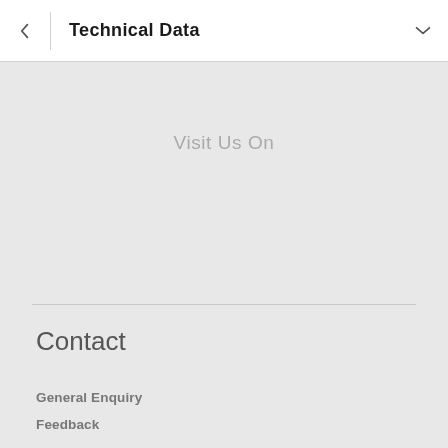Technical Data
Visit Us On
Contact
General Enquiry
Feedback